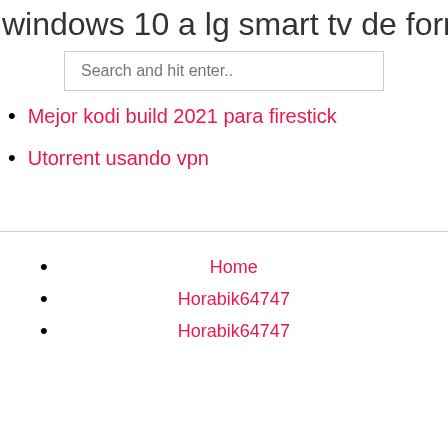windows 10 a lg smart tv de forma in
[Figure (other): Search input box with placeholder text 'Search and hit enter..']
Mejor kodi build 2021 para firestick
Utorrent usando vpn
Home
Horabik64747
Horabik64747